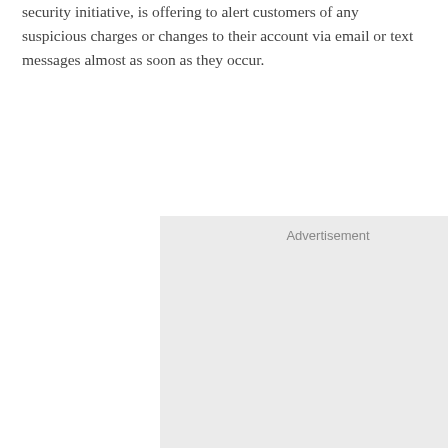security initiative, is offering to alert customers of any suspicious charges or changes to their account via email or text messages almost as soon as they occur.
[Figure (other): Advertisement placeholder box with light gray background and 'Advertisement' label at the top center.]